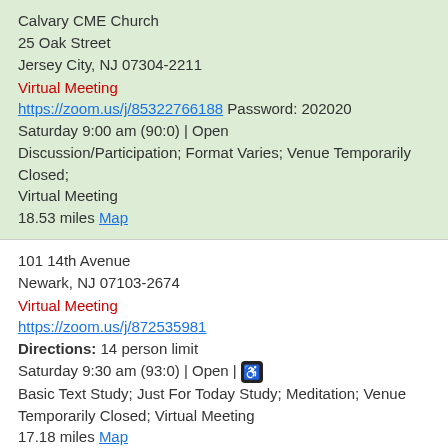Calvary CME Church
25 Oak Street
Jersey City, NJ 07304-2211
Virtual Meeting
https://zoom.us/j/85322766188 Password: 202020
Saturday 9:00 am (90:0) | Open
Discussion/Participation; Format Varies; Venue Temporarily Closed; Virtual Meeting
18.53 miles Map
101 14th Avenue
Newark, NJ 07103-2674
Virtual Meeting
https://zoom.us/j/872535981
Directions: 14 person limit
Saturday 9:30 am (93:0) | Open |
Basic Text Study; Just For Today Study; Meditation; Venue Temporarily Closed; Virtual Meeting
17.18 miles Map
Butler United Methodist Church
5 Bartholdi Avenue
Butler, NJ 07405-1401